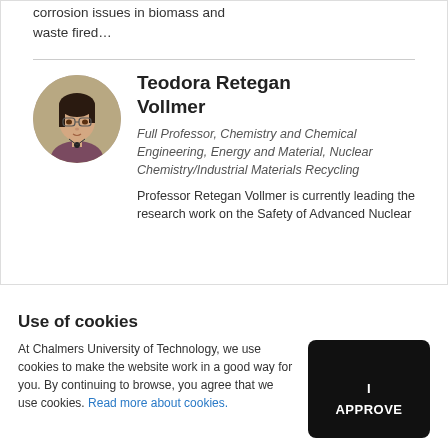corrosion issues in biomass and waste fired…
Teodora Retegan Vollmer
Full Professor, Chemistry and Chemical Engineering, Energy and Material, Nuclear Chemistry/Industrial Materials Recycling
[Figure (photo): Circular portrait photo of Teodora Retegan Vollmer]
Professor Retegan Vollmer is currently leading the research work on the Safety of Advanced Nuclear
Use of cookies
At Chalmers University of Technology, we use cookies to make the website work in a good way for you. By continuing to browse, you agree that we use cookies. Read more about cookies.